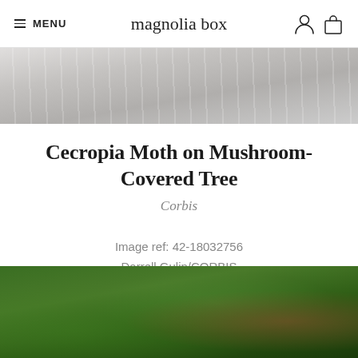MENU | magnolia box
[Figure (photo): Close-up of light gray weathered wood texture, top strip of the page]
Cecropia Moth on Mushroom-Covered Tree
Corbis
Image ref: 42-18032756
Darrell Gulin/CORBIS
[Figure (photo): Partial view of a Cecropia moth on a mushroom-covered tree, green foliage background, bottom strip of the page]